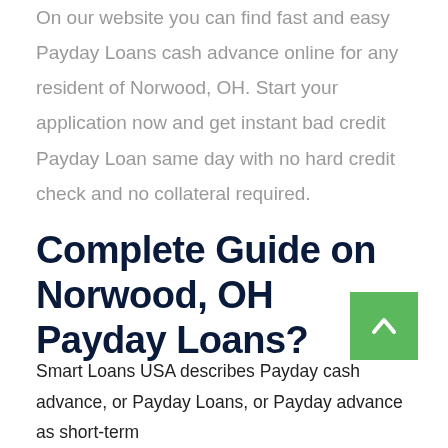On our website you can find fast and easy Payday Loans cash advance online for any resident of Norwood, OH. Start your application now and get instant bad credit Payday Loan same day with no hard credit check and no collateral required.
Complete Guide on Norwood, OH Payday Loans?
Smart Loans USA describes Payday cash advance, or Payday Loans, or Payday advance as short-term